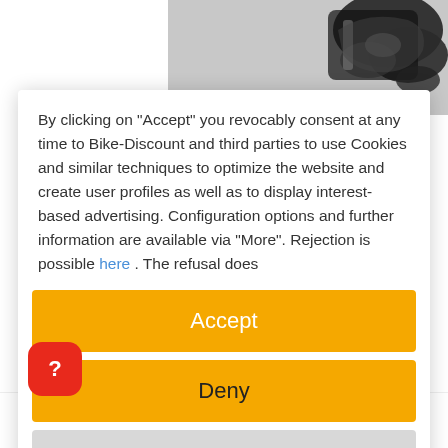[Figure (photo): Partial view of a bicycle rear derailleur/component, dark metallic, cropped at top right of page]
By clicking on "Accept" you revocably consent at any time to Bike-Discount and third parties to use Cookies and similar techniques to optimize the website and create user profiles as well as to display interest-based advertising. Configuration options and further information are available via "More". Rejection is possible here . The refusal does
[Figure (screenshot): Accept button - orange/yellow rounded rectangle button with white text 'Accept']
[Figure (screenshot): Deny button - orange/yellow rounded rectangle button with dark text 'Deny']
[Figure (screenshot): more button - grey rounded rectangle button with dark text 'more']
Powered by  usercentrics  &  TRUSTED SHOPS
[Figure (logo): SR Suntour logo at the bottom of the page]